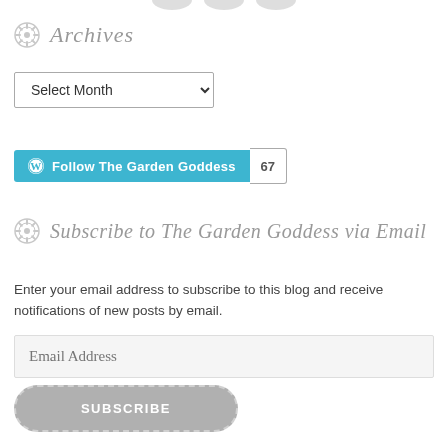Archives
Select Month
Follow The Garden Goddess  67
Subscribe to The Garden Goddess via Email
Enter your email address to subscribe to this blog and receive notifications of new posts by email.
Email Address
SUBSCRIBE